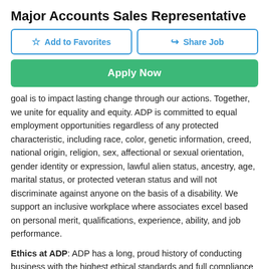Major Accounts Sales Representative
[Figure (other): Two buttons: 'Add to Favorites' (star icon, outlined) and 'Share Job' (share icon, outlined)]
[Figure (other): Green 'Apply Now' button]
goal is to impact lasting change through our actions. Together, we unite for equality and equity. ADP is committed to equal employment opportunities regardless of any protected characteristic, including race, color, genetic information, creed, national origin, religion, sex, affectional or sexual orientation, gender identity or expression, lawful alien status, ancestry, age, marital status, or protected veteran status and will not discriminate against anyone on the basis of a disability. We support an inclusive workplace where associates excel based on personal merit, qualifications, experience, ability, and job performance.
Ethics at ADP: ADP has a long, proud history of conducting business with the highest ethical standards and full compliance with all applicable laws. We also expect our people to uphold our values with the highest level of integrity and behave in a manner